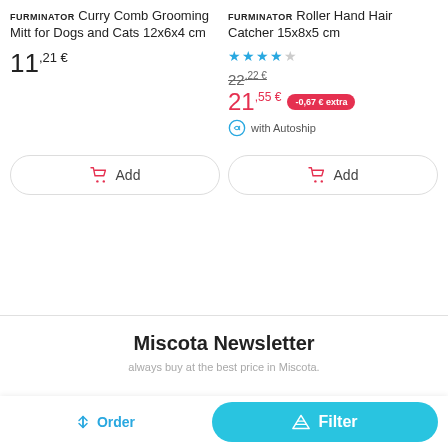FURMINATOR Curry Comb Grooming Mitt for Dogs and Cats 12x6x4 cm
11,21 €
FURMINATOR Roller Hand Hair Catcher 15x8x5 cm
★★★★☆
22,22 €
21,55 € -0,67 € extra
with Autoship
Add
Add
Miscota Newsletter
always buy at the best price in Miscota.
Order
Filter